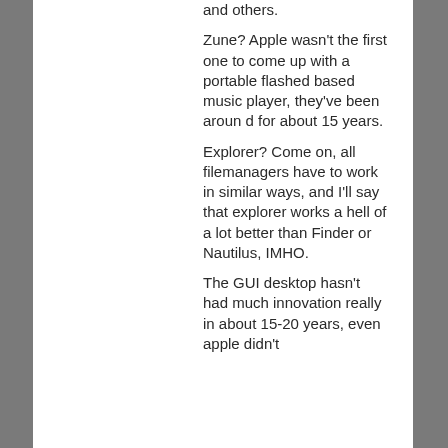and others.
Zune? Apple wasn't the first one to come up with a portable flashed based music player, they've been aroun d for about 15 years.
Explorer? Come on, all filemanagers have to work in similar ways, and I'll say that explorer works a hell of a lot better than Finder or Nautilus, IMHO.
The GUI desktop hasn't had much innovation really in about 15-20 years, even apple didn't